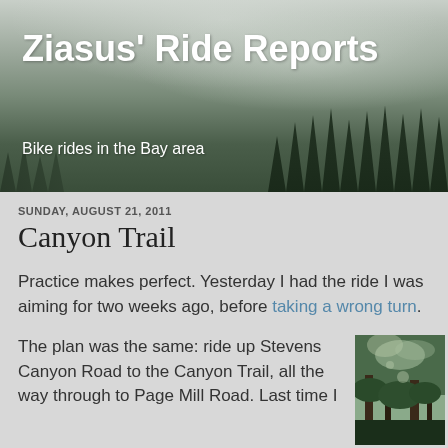Ziasus' Ride Reports
Bike rides in the Bay area
SUNDAY, AUGUST 21, 2011
Canyon Trail
Practice makes perfect. Yesterday I had the ride I was aiming for two weeks ago, before taking a wrong turn.
The plan was the same: ride up Stevens Canyon Road to the Canyon Trail, all the way through to Page Mill Road. Last time I
[Figure (photo): Forest trail photo showing tall trees with dense green canopy overhead, taken from below looking up]